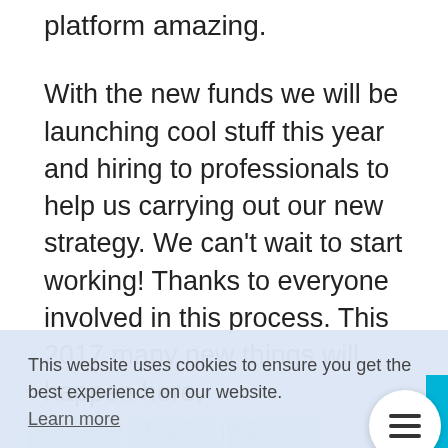platform amazing.
With the new funds we will be launching cool stuff this year and hiring to professionals to help us carrying out our new strategy. We can't wait to start working! Thanks to everyone involved in this process. This 2017 many new things will happen here, please stay tuned.
This website uses cookies to ensure you get the best experience on our website. Learn more
Got it!
Related Posts